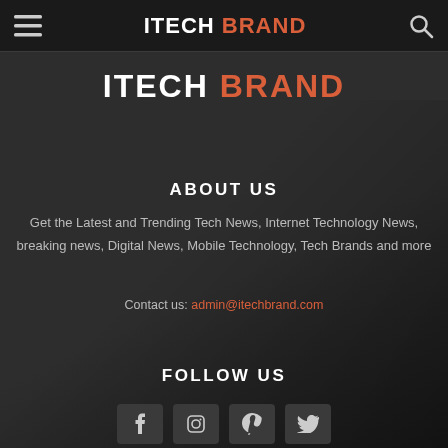ITECH BRAND
ITECH BRAND
ABOUT US
Get the Latest and Trending Tech News, Internet Technology News, breaking news, Digital News, Mobile Technology, Tech Brands and more
Contact us: admin@itechbrand.com
FOLLOW US